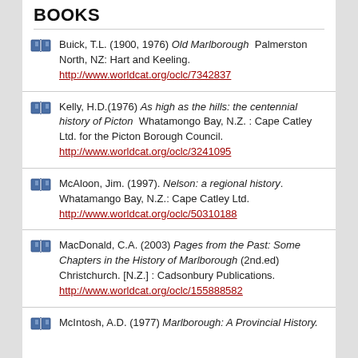BOOKS
Buick, T.L. (1900, 1976) Old Marlborough  Palmerston North, NZ: Hart and Keeling. http://www.worldcat.org/oclc/7342837
Kelly, H.D.(1976) As high as the hills: the centennial history of Picton  Whatamongo Bay, N.Z. : Cape Catley Ltd. for the Picton Borough Council. http://www.worldcat.org/oclc/3241095
McAloon, Jim. (1997). Nelson: a regional history. Whatamango Bay, N.Z.: Cape Catley Ltd. http://www.worldcat.org/oclc/50310188
MacDonald, C.A. (2003) Pages from the Past: Some Chapters in the History of Marlborough (2nd.ed) Christchurch. [N.Z.] : Cadsonbury Publications. http://www.worldcat.org/oclc/155888582
McIntosh, A.D. (1977) Marlborough: A Provincial History.